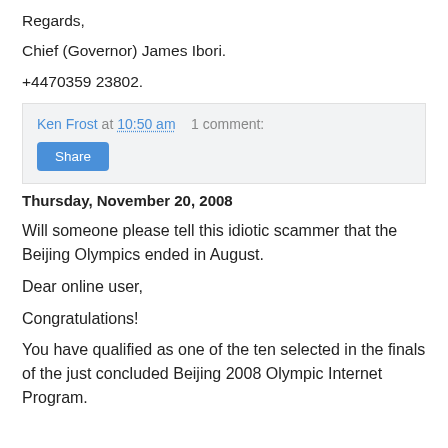Regards,
Chief (Governor) James Ibori.
+4470359 23802.
Ken Frost at 10:50 am   1 comment:
Share
Thursday, November 20, 2008
Will someone please tell this idiotic scammer that the Beijing Olympics ended in August.
Dear online user,
Congratulations!
You have qualified as one of the ten selected in the finals of the just concluded Beijing 2008 Olympic Internet Program.